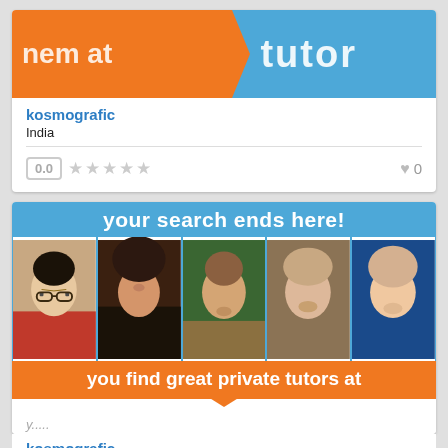[Figure (screenshot): Card showing a tutoring website banner with orange and blue sections, text 'nem at' in orange and 'tutor' in blue]
kosmografic
India
0.0
0
[Figure (screenshot): Banner ad for tutoring website showing 'your search ends here!' in white on blue background, five tutor photos, and 'you find great private tutors at' on orange background]
kosmografic